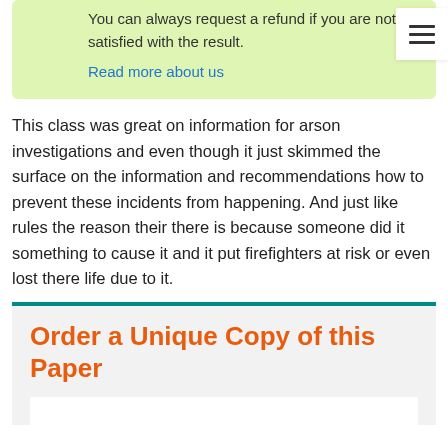You can always request a refund if you are not satisfied with the result.
Read more about us
This class was great on information for arson investigations and even though it just skimmed the surface on the information and recommendations how to prevent these incidents from happening. And just like rules the reason their there is because someone did it something to cause it and it put firefighters at risk or even lost there life due to it.
Order a Unique Copy of this Paper